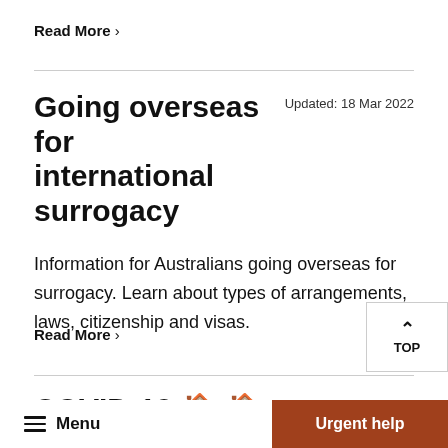Read More >
Going overseas for international surrogacy
Information for Australians going overseas for surrogacy. Learn about types of arrangements, laws, citizenship and visas.
Read More >
COVID-19 🏠 🏠 🏠
Menu  |  Urgent help